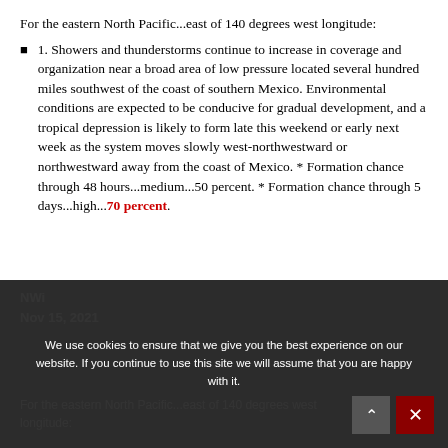For the eastern North Pacific...east of 140 degrees west longitude:
1. Showers and thunderstorms continue to increase in coverage and organization near a broad area of low pressure located several hundred miles southwest of the coast of southern Mexico. Environmental conditions are expected to be conducive for gradual development, and a tropical depression is likely to form late this weekend or early next week as the system moves slowly west-northwestward or northwestward away from the coast of Mexico. * Formation chance through 48 hours...medium...50 percent. * Formation chance through 5 days...high...70 percent.
For the eastern North Pacific...east of 140 degrees west longitude: